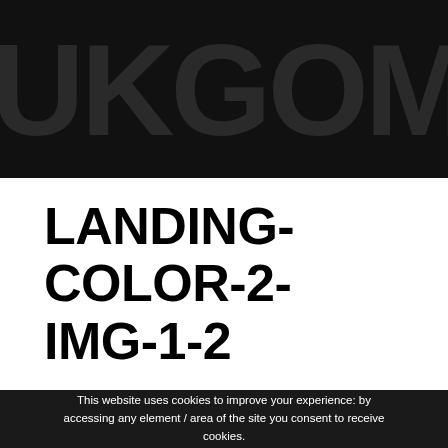[Figure (photo): Dark banner with large ghost/watermark text showing partial letters in dark charcoal on black background]
LANDING-COLOR-2-IMG-1-2
This website uses cookies to improve your experience: by accessing any element / area of the site you consent to receive cookies.